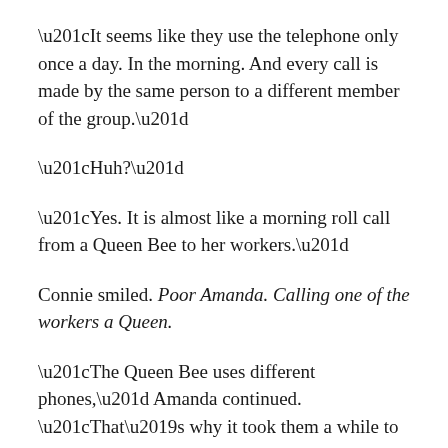“It seems like they use the telephone only once a day. In the morning. And every call is made by the same person to a different member of the group.”
“Huh?”
“Yes. It is almost like a morning roll call from a Queen Bee to her workers.”
Connie smiled. Poor Amanda. Calling one of the workers a Queen.
“The Queen Bee uses different phones,” Amanda continued. “That’s why it took them a while to piece this together.”
“What time do they make the calls?”